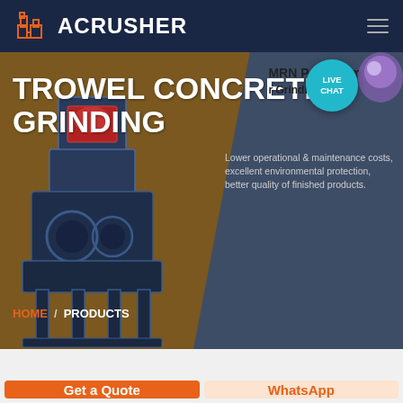ACRUSHER
TROWEL CONCRETE GRINDING
MRN Pendulum Roller Grinding Mill
Lower operational & maintenance costs, excellent environmental protection, better quality of finished products.
HOME / PRODUCTS
[Figure (screenshot): Industrial grinding machine (crusher/mill) shown in a 3D rendered view against the hero background]
LIVE CHAT
Get a Quote
WhatsApp